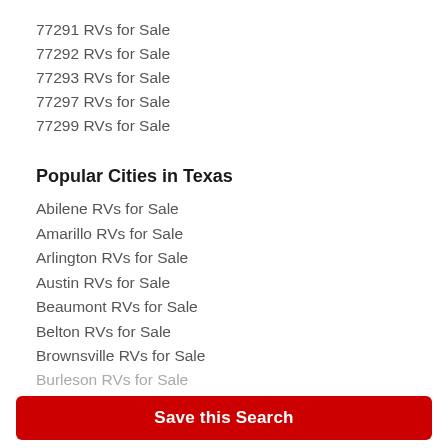77291 RVs for Sale
77292 RVs for Sale
77293 RVs for Sale
77297 RVs for Sale
77299 RVs for Sale
Popular Cities in Texas
Abilene RVs for Sale
Amarillo RVs for Sale
Arlington RVs for Sale
Austin RVs for Sale
Beaumont RVs for Sale
Belton RVs for Sale
Brownsville RVs for Sale
Burleson RVs for Sale
Save this Search